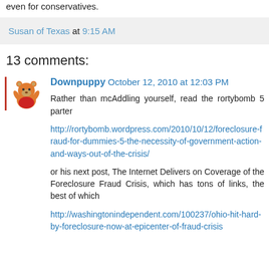even for conservatives.
Susan of Texas at 9:15 AM
13 comments:
Downpuppy  October 12, 2010 at 12:03 PM
Rather than mcAddling yourself, read the rortybomb 5 parter

http://rortybomb.wordpress.com/2010/10/12/foreclosure-fraud-for-dummies-5-the-necessity-of-government-action-and-ways-out-of-the-crisis/

or his next post, The Internet Delivers on Coverage of the Foreclosure Fraud Crisis, which has tons of links, the best of which

http://washingtonindependent.com/100237/ohio-hit-hard-by-foreclosure-now-at-epicenter-of-fraud-crisis